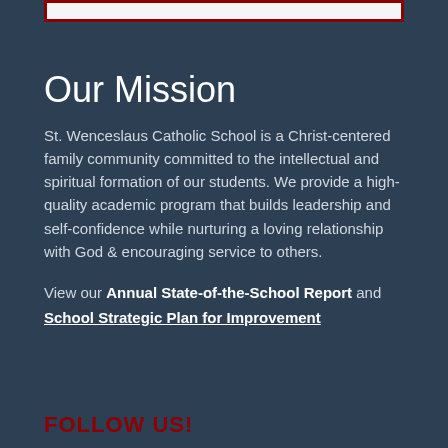Our Mission
St. Wenceslaus Catholic School is a Christ-centered family community committed to the intellectual and spiritual formation of our students. We provide a high-quality academic program that builds leadership and self-confidence while nurturing a loving relationship with God & encouraging service to others.
View our Annual State-of-the-School Report and School Strategic Plan for Improvement
FOLLOW US!